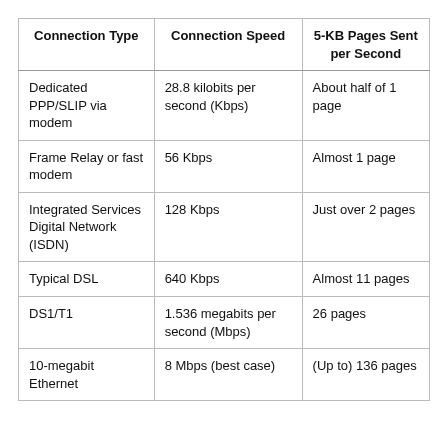| Connection Type | Connection Speed | 5-KB Pages Sent per Second |
| --- | --- | --- |
| Dedicated PPP/SLIP via modem | 28.8 kilobits per second (Kbps) | About half of 1 page |
| Frame Relay or fast modem | 56 Kbps | Almost 1 page |
| Integrated Services Digital Network (ISDN) | 128 Kbps | Just over 2 pages |
| Typical DSL | 640 Kbps | Almost 11 pages |
| DS1/T1 | 1.536 megabits per second (Mbps) | 26 pages |
| 10-megabit Ethernet | 8 Mbps (best case) | (Up to) 136 pages |